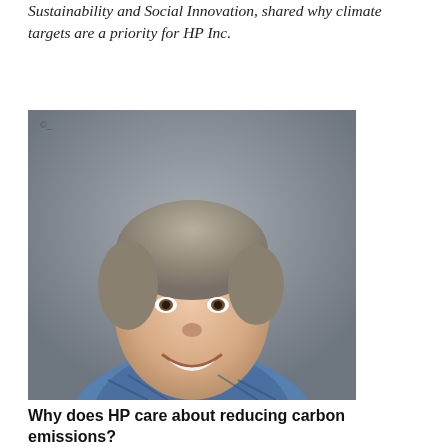Sustainability and Social Innovation, shared why climate targets are a priority for HP Inc.
[Figure (photo): Headshot photo of a middle-aged man with short gray-brown hair, smiling, wearing a blue plaid shirt, against a gray background.]
Why does HP care about reducing carbon emissions?